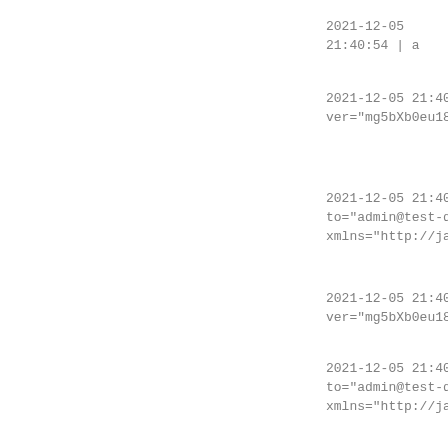2021-12-05 21:40:54 | a
2021-12-05 21:40:57 |
ver="mg5bXb0eu1848vxdgu
2021-12-05 21:40:57 | a
to="admin@test-domain.c
xmlns="http://jabber.or
2021-12-05 21:40:58 |
ver="mg5bXb0eu1848vxdgu
2021-12-05 21:40:58 | a
to="admin@test-domain.c
xmlns="http://jabber.or
2021-12-05 21:40:59 |
ver="mg5bXb0eu1848vxdgu
2021-12-05 21:40:59 | a
to="admin@test-domain.c
xmlns="http://jabber.or
2021-12-05 21:40:59 |
type="unavailable" xmln